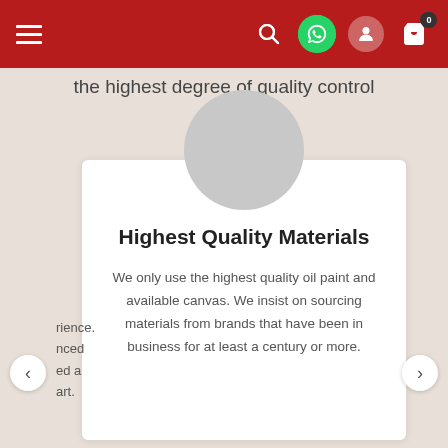[Figure (screenshot): Website navigation bar with hamburger menu on left and icons (search, WhatsApp, user, cart with 0 badge) on right, red background]
the highest degree of quality control
[Figure (illustration): Circular avatar placeholder (grey circle) centered above card]
Highest Quality Materials
We only use the highest quality oil paint and available canvas. We insist on sourcing materials from brands that have been in business for at least a century or more.